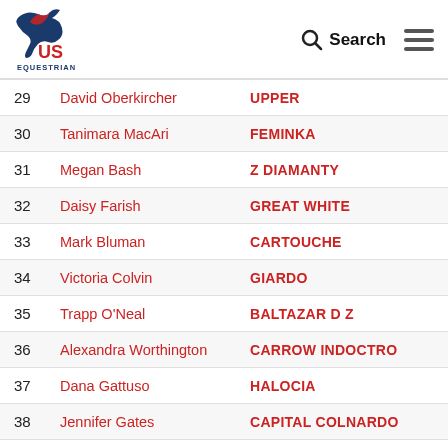US Equestrian — Search / Menu
| # | Rider | Horse |
| --- | --- | --- |
| 29 | David Oberkircher | UPPER |
| 30 | Tanimara MacAri | FEMINKA |
| 31 | Megan Bash | Z DIAMANTY |
| 32 | Daisy Farish | GREAT WHITE |
| 33 | Mark Bluman | CARTOUCHE |
| 34 | Victoria Colvin | GIARDO |
| 35 | Trapp O'Neal | BALTAZAR D Z |
| 36 | Alexandra Worthington | CARROW INDOCTRO |
| 37 | Dana Gattuso | HALOCIA |
| 38 | Jennifer Gates | CAPITAL COLNARDO |